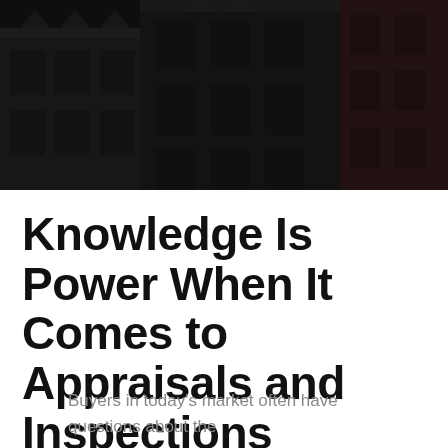[Figure (photo): Dark overhead photo of brick building facades with ornate architectural details, windows, and cornices. Image is heavily darkened/shadowed.]
Knowledge Is Power When It Comes to Appraisals and Inspections
Buyers in today's market often have questions about the